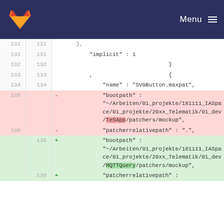GitLab Menu
[Figure (screenshot): GitLab diff view showing code changes. Lines 131-136 of a JSON file. Lines 135-136 are deleted (red background) showing bootpath with TeSApp and patcherrelativepath. Lines 135-136 are added (green background) showing bootpath with MQTTQuery and patcherrelativepath.]